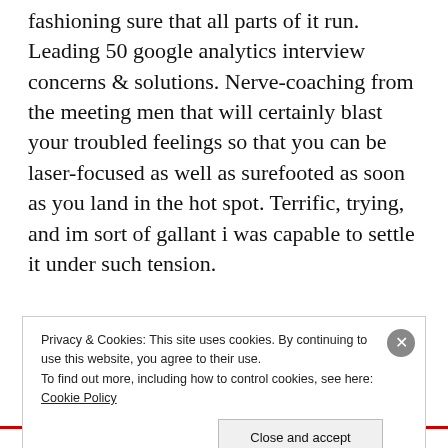fashioning sure that all parts of it run. Leading 50 google analytics interview concerns & solutions. Nerve-coaching from the meeting men that will certainly blast your troubled feelings so that you can be laser-focused as well as surefooted as soon as you land in the hot spot. Terrific, trying, and im sort of gallant i was capable to settle it under such tension.

Those that pass the phone or image interview move on to the in-person interviews. Again, it's crafty question, and not simply in damage of operations it out. Beyond enabling myself to get some shouting meemies out, i
Privacy & Cookies: This site uses cookies. By continuing to use this website, you agree to their use.
To find out more, including how to control cookies, see here: Cookie Policy

Close and accept